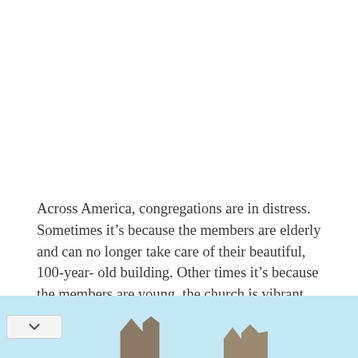Across America, congregations are in distress. Sometimes it’s because the members are elderly and can no longer take care of their beautiful, 100-year-old building. Other times it’s because the members are young, the church is vibrant and alive, but they’re meeting in a cold and drafty barn.
[Figure (photo): A strip at the bottom of the page showing a light blue sky with silhouettes of small church or rural buildings visible. A chevron/down arrow button appears on the left side of the strip.]